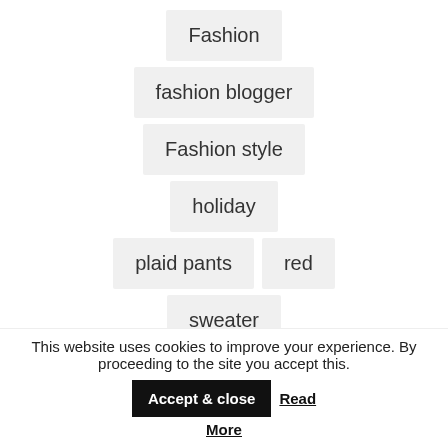Fashion
fashion blogger
Fashion style
holiday
plaid pants
red
sweater
traditional
This website uses cookies to improve your experience. By proceeding to the site you accept this. Accept & close Read More